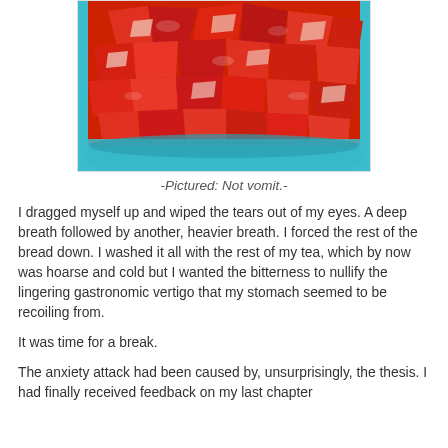[Figure (photo): A close-up photo of chopped/sliced strawberries in a teal/turquoise bowl, glistening and glossy.]
-Pictured: Not vomit.-
I dragged myself up and wiped the tears out of my eyes. A deep breath followed by another, heavier breath. I forced the rest of the bread down. I washed it all with the rest of my tea, which by now was hoarse and cold but I wanted the bitterness to nullify the lingering gastronomic vertigo that my stomach seemed to be recoiling from.
It was time for a break.
The anxiety attack had been caused by, unsurprisingly, the thesis. I had finally received feedback on my last chapter from my supervisor. Most of it was positive, but the last...